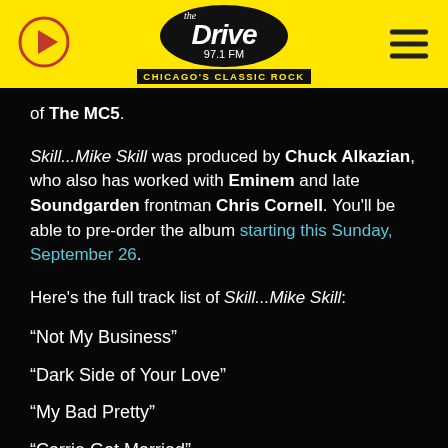[Figure (logo): The Drive 97.1 FM Chicago's Classic Rock radio station logo on yellow header bar with play button and hamburger menu]
of The MC5.
Skill...Mike Skill was produced by Chuck Alkazian, who also has worked with Eminem and late Soundgarden frontman Chris Cornell. You'll be able to pre-order the album starting this Sunday, September 26.
Here's the full track list of Skill...Mike Skill:
“Not My Business”
“Dark Side of Your Love”
“My Bad Pretty”
“Carrie Got Married”
‘67 Riot” — featuring Wayne Kramer